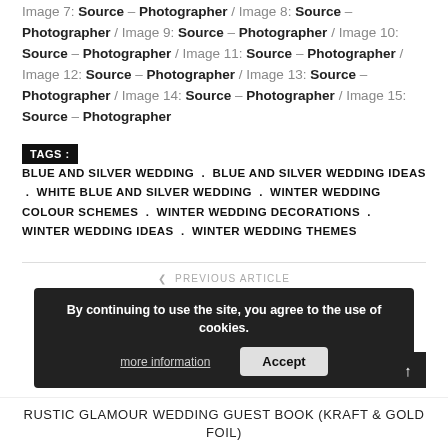Image 7: Source – Photographer / Image 8: Source – Photographer / Image 9: Source – Photographer / Image 10: Source – Photographer / Image 11: Source – Photographer / Image 12: Source – Photographer / Image 13: Source – Photographer / Image 14: Source – Photographer / Image 15: Source – Photographer
TAGS: BLUE AND SILVER WEDDING . BLUE AND SILVER WEDDING IDEAS . WHITE BLUE AND SILVER WEDDING . WINTER WEDDING COLOUR SCHEMES . WINTER WEDDING DECORATIONS . WINTER WEDDING IDEAS . WINTER WEDDING THEMES
< PREVIOUS ARTICLE
RUSTIC ELEGANT WEDDING CENTREPIECE – STONE COLOURED VASE
By continuing to use the site, you agree to the use of cookies. more information  Accept
RUSTIC GLAMOUR WEDDING GUEST BOOK (KRAFT & GOLD FOIL)